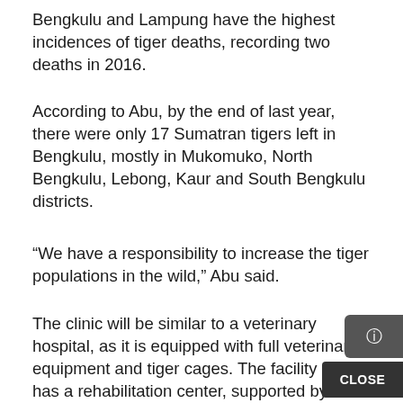Bengkulu and Lampung have the highest incidences of tiger deaths, recording two deaths in 2016.
According to Abu, by the end of last year, there were only 17 Sumatran tigers left in Bengkulu, mostly in Mukomuko, North Bengkulu, Lebong, Kaur and South Bengkulu districts.
“We have a responsibility to increase the tiger populations in the wild,” Abu said.
The clinic will be similar to a veterinary hospital, as it is equipped with full veterinary equipment and tiger cages. The facility also has a rehabilitation center, supported by the United States conservation grou US Fish and Wildlife Service, through Animal